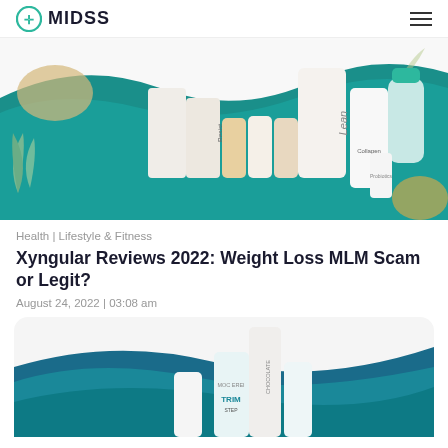MIDSS
[Figure (photo): Product lineup of Xyngular supplements including Trimstix, Resist, Lean, Fuel, and Collagen bottles with a teal shaker cup on a teal and white background with tropical leaf decorations.]
Health | Lifestyle & Fitness
Xyngular Reviews 2022: Weight Loss MLM Scam or Legit?
August 24, 2022 | 03:08 am
[Figure (photo): Xyngular product bottles including TRIM and chocolate products on a teal wave background, partially visible at bottom of page.]